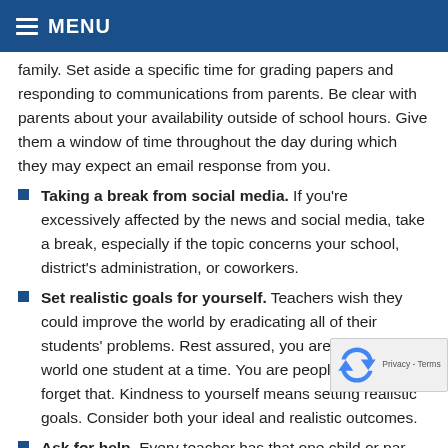MENU
family. Set aside a specific time for grading papers and responding to communications from parents. Be clear with parents about your availability outside of school hours. Give them a window of time throughout the day during which they may expect an email response from you.
Taking a break from social media. If you're excessively affected by the news and social media, take a break, especially if the topic concerns your school, district's administration, or coworkers.
Set realistic goals for yourself. Teachers wish they could improve the world by eradicating all of their students' problems. Rest assured, you are improving the world one student at a time. You are people too; don't forget that. Kindness to yourself means setting realistic goals. Consider both your ideal and realistic outcomes.
Ask for help. Every teacher has that one child or parent you just can't figure out. Talk to your co-workers or a trusted friend and brain storm solutions. On the flip side,